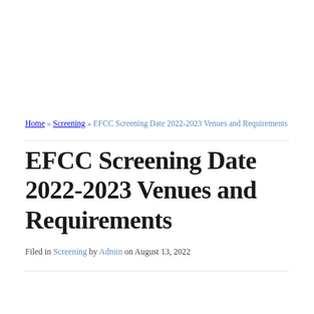Home » Screening » EFCC Screening Date 2022-2023 Venues and Requirements
EFCC Screening Date 2022-2023 Venues and Requirements
Filed in Screening by Admin on August 13, 2022